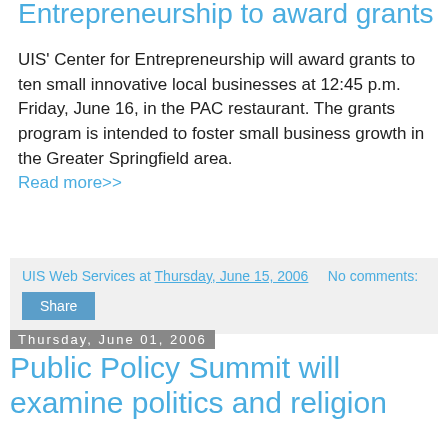Entrepreneurship to award grants
UIS' Center for Entrepreneurship will award grants to ten small innovative local businesses at 12:45 p.m. Friday, June 16, in the PAC restaurant. The grants program is intended to foster small business growth in the Greater Springfield area. Read more>>
UIS Web Services at Thursday, June 15, 2006   No comments:
Share
Thursday, June 01, 2006
Public Policy Summit will examine politics and religion
"Politics and Religion: Conflict and Coexistence at Home and Abroad" is the topic of the fourth annual Public Policy Summit, to be held Tuesday, June 20, at UIS. The event is sponsored by UIS' Center for State Policy and Leadership and is open to the public.